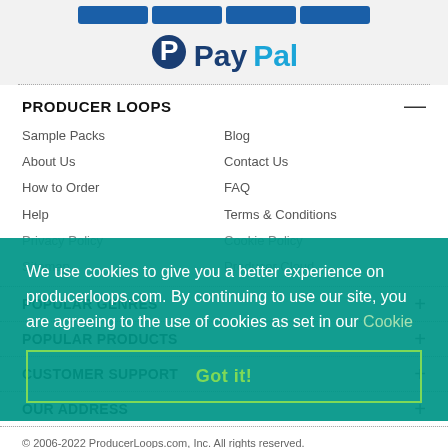[Figure (other): Four blue payment method buttons in a row at the top]
[Figure (logo): PayPal logo with dark blue P icon and PayPal text in dark and light blue]
PRODUCER LOOPS
Sample Packs
About Us
How to Order
Help
Privacy Policy
Sitemap
Blog
Contact Us
FAQ
Terms & Conditions
Cookie Policy
Producer Cloud
POPULAR GENRES
POPULAR PRODUCTS
CUSTOMER SUPPORT
OUR ADDRESS
We use cookies to give you a better experience on producerloops.com. By continuing to use our site, you are agreeing to the use of cookies as set in our Cookie
Got it!
© 2006-2022 ProducerLoops.com, Inc. All rights reserved.
Website design by iWeb